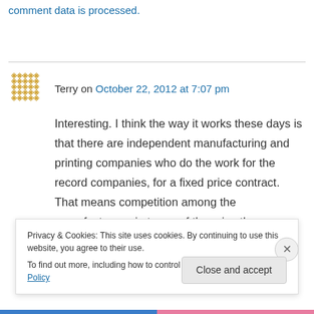This site uses Akismet to reduce spam. Learn how your comment data is processed.
Terry on October 22, 2012 at 7:07 pm
Interesting. I think the way it works these days is that there are independent manufacturing and printing companies who do the work for the record companies, for a fixed price contract. That means competition among the manufacturers, in terms of the price they can
Privacy & Cookies: This site uses cookies. By continuing to use this website, you agree to their use.
To find out more, including how to control cookies, see here: Cookie Policy
Close and accept